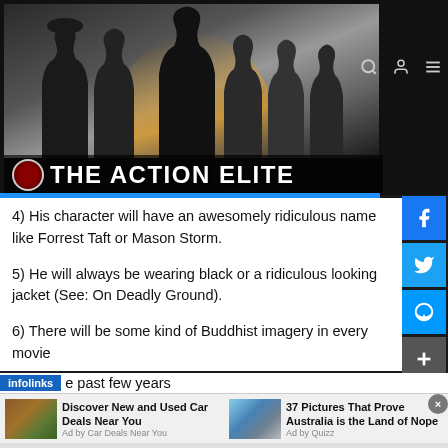[Figure (photo): The Action Elite website banner with group of action movie characters in black and white with logo and title 'THE ACTION ELITE']
4) His character will have an awesomely ridiculous name like Forrest Taft or Mason Storm.
5) He will always be wearing black or a ridiculous looking jacket (See: On Deadly Ground).
6) There will be some kind of Buddhist imagery in every movie
e past few years
Discover New and Used Car Deals Near You
Ad by Car Deals Near You
37 Pictures That Prove Australia is the Land of Nope
Ad by Quizz